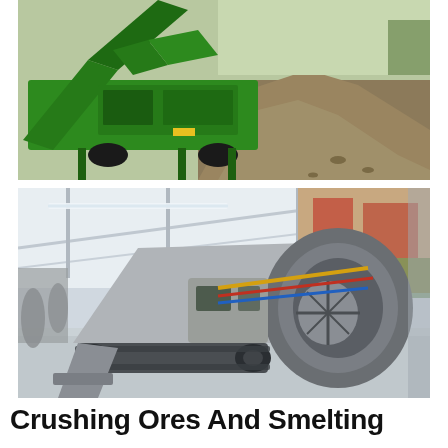[Figure (photo): Green industrial ore crushing/screening machine with conveyor belt, positioned outdoors next to a pile of crushed rock/gravel material.]
[Figure (photo): Large grey mobile jaw crusher machine with tracked undercarriage, photographed inside a large industrial warehouse/exhibition hall with white tent-like roof. Metallic machine with visible engine, fans and hydraulic components.]
Crushing Ores And Smelting